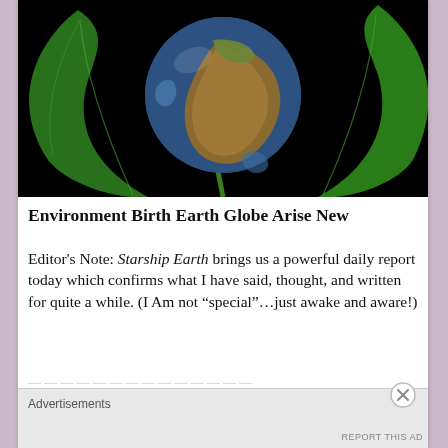[Figure (photo): Illustration of a globe (Earth showing Africa and Europe) cradled by large green tropical leaves against a black background, representing environmental themes.]
Environment Birth Earth Globe Arise New
Editor's Note: Starship Earth brings us a powerful daily report today which confirms what I have said, thought, and written for quite a while. (I Am not “special”…just awake and aware!)
Advertisements